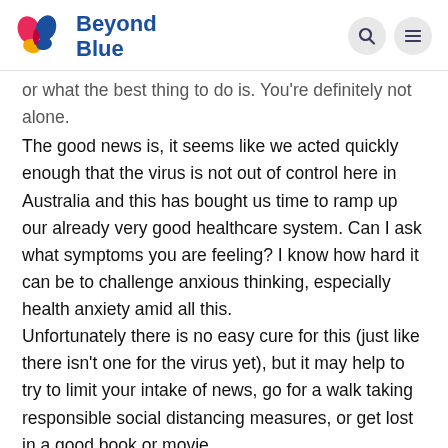Beyond Blue
or what the best thing to do is. You're definitely not alone.
The good news is, it seems like we acted quickly enough that the virus is not out of control here in Australia and this has bought us time to ramp up our already very good healthcare system. Can I ask what symptoms you are feeling? I know how hard it can be to challenge anxious thinking, especially health anxiety amid all this.
Unfortunately there is no easy cure for this (just like there isn't one for the virus yet), but it may help to try to limit your intake of news, go for a walk taking responsible social distancing measures, or get lost in a good book or movie.